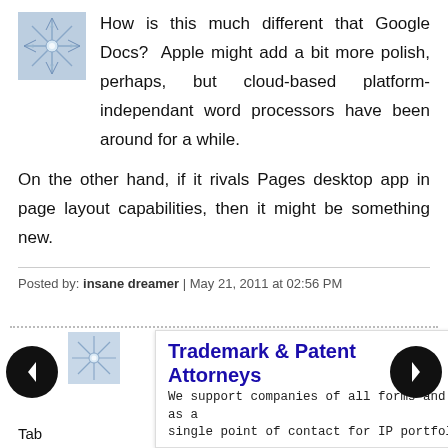How is this much different that Google Docs? Apple might add a bit more polish, perhaps, but cloud-based platform-independant word processors have been around for a while.
On the other hand, if it rivals Pages desktop app in page layout capabilities, then it might be something new.
Posted by: insane dreamer | May 21, 2011 at 02:56 PM
[Figure (illustration): Advertisement overlay: Trademark & Patent Attorneys - Dennemeyer & Associates. We support companies of all forms and sizes as a single point of contact for IP portfolios. Learn More button.]
Tab ... the